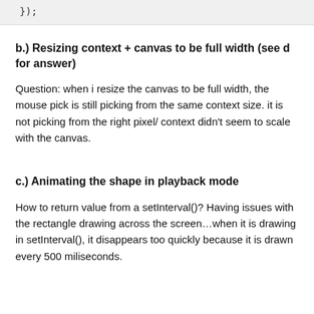});
b.) Resizing context + canvas to be full width (see d for answer)
Question: when i resize the canvas to be full width, the mouse pick is still picking from the same context size. it is not picking from the right pixel/ context didn't seem to scale with the canvas.
c.) Animating the shape in playback mode
How to return value from a setInterval()? Having issues with the rectangle drawing across the screen…when it is drawing in setInterval(), it disappears too quickly because it is drawn every 500 miliseconds.